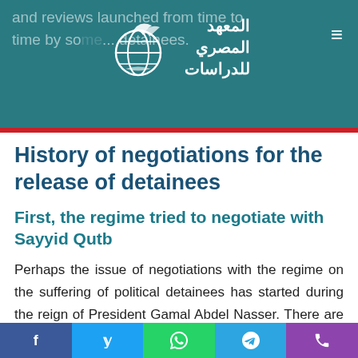and reviews launched from time to time by some... detainees.
[Figure (logo): Al-Masry Institute for Studies logo with globe and Arabic text]
History of negotiations for the release of detainees
First, the regime tried to negotiate with Sayyid Qutb
Perhaps the issue of negotiations with the regime on the suffering of political detainees has started during the reign of President Gamal Abdel Nasser. There are reliable reports that have been circulated
f  y  [whatsapp]  [telegram]  [phone]